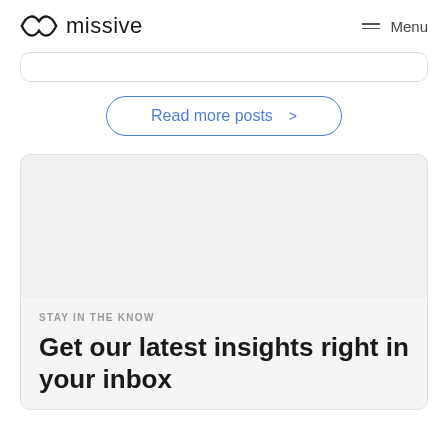missive  Menu
[Figure (screenshot): Partial white card at top of page]
Read more posts >
STAY IN THE KNOW
Get our latest insights right in your inbox